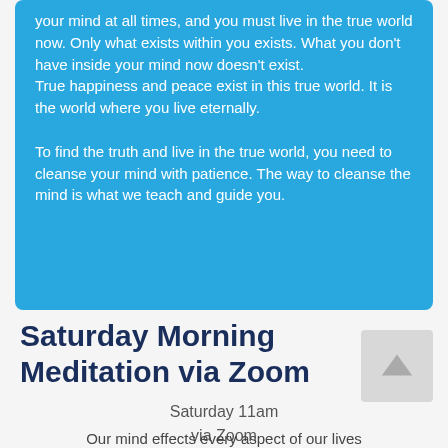your mind at all times, and you must live in the true world now. Only what exists within you exists. What you don't have inside your mind now doesn't exist.
True happiness and peace exist in this true world. It is the world where you live eternally.

To find the truth and live in the true world, you need to cleanse your mind with patience. The way to cleanse the mind is what we teach and guide you.
Saturday Morning Meditation via Zoom
Saturday 11am
via Zoom
Our mind effects every aspect of our lives